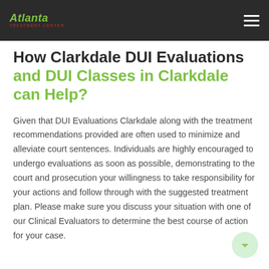Atlanta Treatment Center
How Clarkdale DUI Evaluations and DUI Classes in Clarkdale can Help?
Given that DUI Evaluations Clarkdale along with the treatment recommendations provided are often used to minimize and alleviate court sentences. Individuals are highly encouraged to undergo evaluations as soon as possible, demonstrating to the court and prosecution your willingness to take responsibility for your actions and follow through with the suggested treatment plan. Please make sure you discuss your situation with one of our Clinical Evaluators to determine the best course of action for your case.